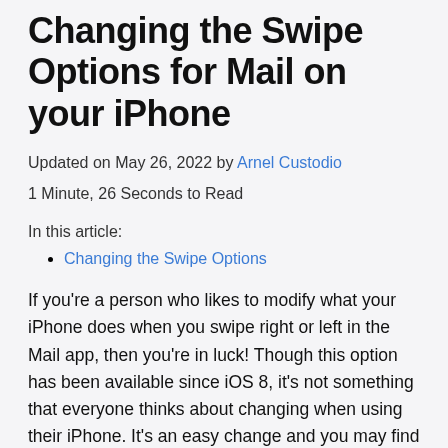Changing the Swipe Options for Mail on your iPhone
Updated on May 26, 2022 by Arnel Custodio
1 Minute, 26 Seconds to Read
In this article:
Changing the Swipe Options
If you’re a person who likes to modify what your iPhone does when you swipe right or left in the Mail app, then you’re in luck! Though this option has been available since iOS 8, it’s not something that everyone thinks about changing when using their iPhone. It’s an easy change and you may find that it helps to speed up your mail managing experience.